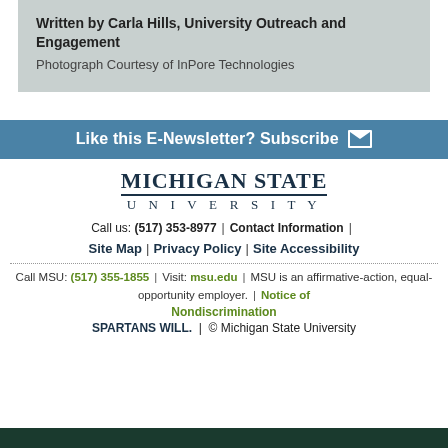Written by Carla Hills, University Outreach and Engagement
Photograph Courtesy of InPore Technologies
Like this E-Newsletter? Subscribe
[Figure (logo): Michigan State University logo with MICHIGAN STATE on top and UNIVERSITY below in spaced letters]
Call us: (517) 353-8977 | Contact Information | Site Map | Privacy Policy | Site Accessibility
Call MSU: (517) 355-1855 | Visit: msu.edu | MSU is an affirmative-action, equal-opportunity employer. | Notice of Nondiscrimination
SPARTANS WILL. | © Michigan State University